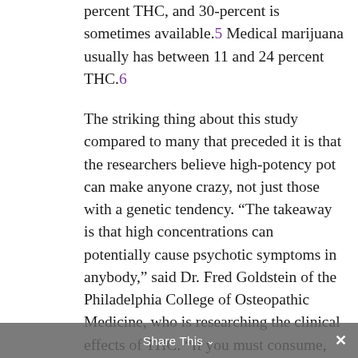percent THC, and 30-percent is sometimes available.5 Medical marijuana usually has between 11 and 24 percent THC.6 The striking thing about this study compared to many that preceded it is that the researchers believe high-potency pot can make anyone crazy, not just those with a genetic tendency. “The takeaway is that high concentrations can potentially cause psychotic symptoms in anybody,” said Dr. Fred Goldstein of the Philadelphia College of Osteopathic Medicine, who is researching the clinical effects of THC. “If you must consume, don’t go for high concentrations. You’re better off using a lower potency product.”
Share This